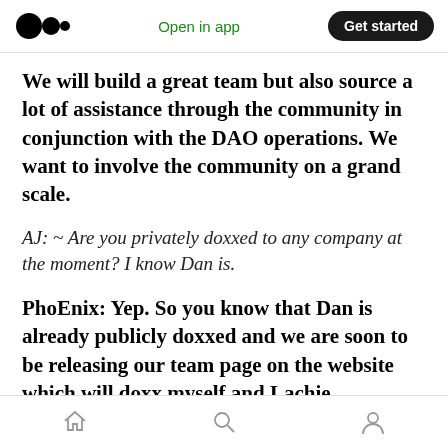Open in app | Get started
We will build a great team but also source a lot of assistance through the community in conjunction with the DAO operations. We want to involve the community on a grand scale.
AJ: ~ Are you privately doxxed to any company at the moment? I know Dan is.
PhoEnix: Yep. So you know that Dan is already publicly doxxed and we are soon to be releasing our team page on the website which will doxx myself and Lachie.
Home | Search | Profile